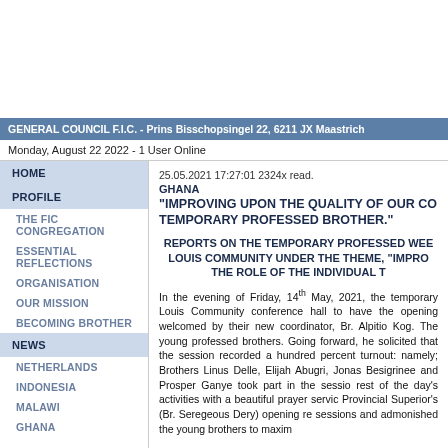GENERAL COUNCIL F.I.C. - Prins Bisschopsingel 22, 6211 JX Maastricht
Monday, August 22 2022  - 1 User Online
HOME
PROFILE
THE FIC CONGREGATION
ESSENTIAL REFLECTIONS
ORGANISATION
OUR MISSION
BECOMING BROTHER
NEWS
NETHERLANDS
INDONESIA
MALAWI
GHANA
25.05.2021 17:27:01 2324x read.
GHANA
“IMPROVING UPON THE QUALITY OF OUR CO... TEMPORARY PROFESSED BROTHER.”
REPORTS ON THE TEMPORARY PROFESSED WEE... LOUIS COMMUNITY UNDER THE THEME, “IMPRO... THE ROLE OF THE INDIVIDUAL T
In the evening of Friday, 14th May, 2021, the temporary... Louis Community conference hall to have the opening... welcomed by their new coordinator, Br. Alpitio Kog. The... young professed brothers. Going forward, he solicited... that the session recorded a hundred percent turnout:... namely; Brothers Linus Delle, Elijah Abugri, Jonas... Besigrinee and Prosper Ganye took part in the sessio... rest of the day’s activities with a beautiful prayer servic... Provincial Superior’s (Br. Seregeous Dery) opening re... sessions and admonished the young brothers to maxim...